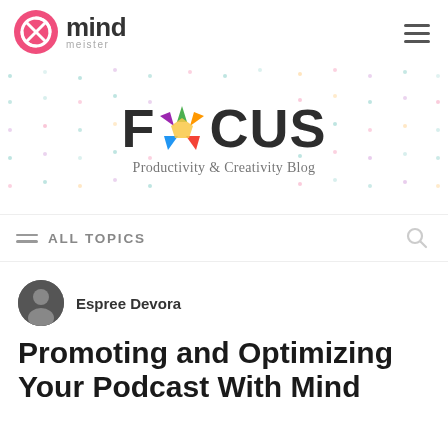MindMeister
[Figure (logo): FOCUS Productivity & Creativity Blog logo with colorful star replacing letter O]
ALL TOPICS
Espree Devora
Promoting and Optimizing Your Podcast With Mind